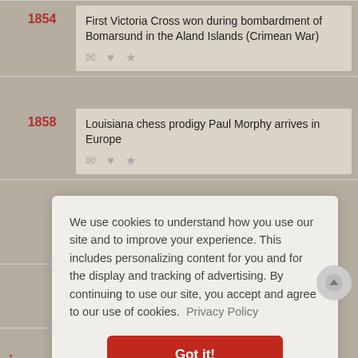1854 — First Victoria Cross won during bombardment of Bomarsund in the Aland Islands (Crimean War)
1858 — Louisiana chess prodigy Paul Morphy arrives in Europe
We use cookies to understand how you use our site and to improve your experience. This includes personalizing content for you and for the display and tracking of advertising. By continuing to use our site, you accept and agree to our use of cookies. Privacy Policy
Got it!